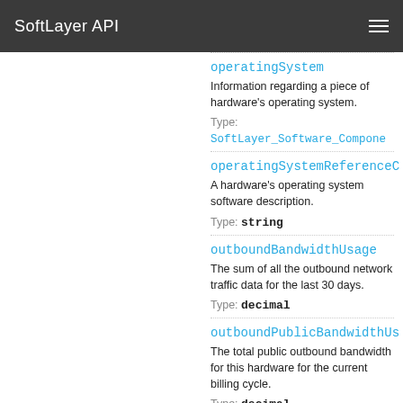SoftLayer API
operatingSystem
Information regarding a piece of hardware's operating system. Type: SoftLayer_Software_Component
operatingSystemReferenceC
A hardware's operating system software description. Type: string
outboundBandwidthUsage
The sum of all the outbound network traffic data for the last 30 days. Type: decimal
outboundPublicBandwidthUs
The total public outbound bandwidth for this hardware for the current billing cycle. Type: decimal